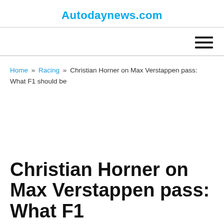Autodaynews.com
Home » Racing » Christian Horner on Max Verstappen pass: What F1 should be
Christian Horner on Max Verstappen pass: What F1